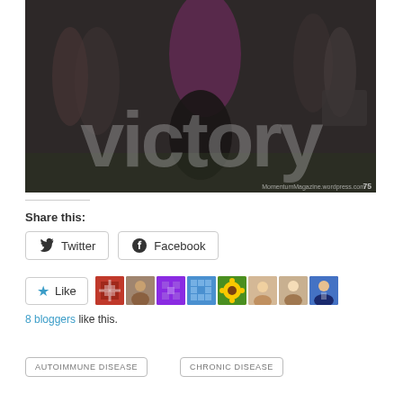[Figure (photo): Dark photo of person at outdoor event with large text 'victory' overlaid in gray. Photo credit: MomentumMagazine.wordpress.com 75]
Share this:
Twitter  Facebook
Like  8 bloggers like this.
AUTOIMMUNE DISEASE
CHRONIC DISEASE